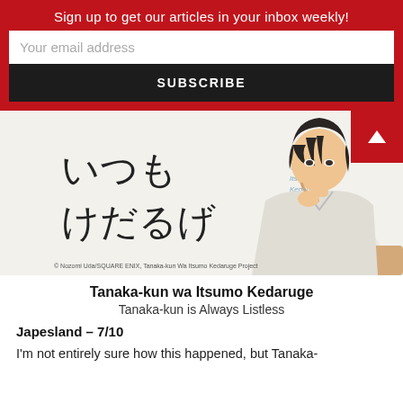Sign up to get our articles in your inbox weekly!
Your email address
SUBSCRIBE
[Figure (illustration): Anime key visual for Tanaka-kun wa Itsumo Kedaruge. Shows a male anime character with dark hair resting his chin on his hand in a listless pose, wearing a white uniform shirt. Japanese text reads いつも けだるげ with smaller romanized text 'Tanaka-kun wa Itsumo Kedaruge'. Copyright text at bottom: © Nozomi Uda/SQUARE ENIX, Tanaka-kun Wa Itsumo Kedaruge Project]
Tanaka-kun wa Itsumo Kedaruge
Tanaka-kun is Always Listless
Japesland – 7/10
I'm not entirely sure how this happened, but Tanaka-